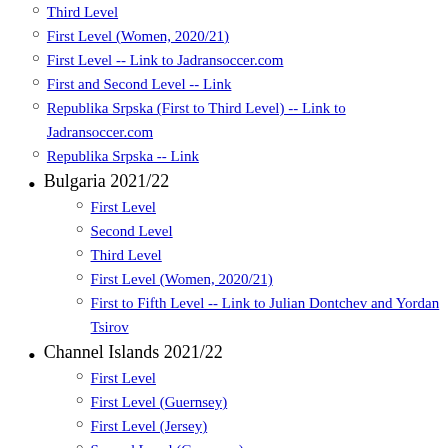Third Level
First Level (Women, 2020/21)
First Level -- Link to Jadransoccer.com
First and Second Level -- Link
Republika Srpska (First to Third Level) -- Link to Jadransoccer.com
Republika Srpska -- Link
Bulgaria 2021/22
First Level
Second Level
Third Level
First Level (Women, 2020/21)
First to Fifth Level -- Link to Julian Dontchev and Yordan Tsirov
Channel Islands 2021/22
First Level
First Level (Guernsey)
First Level (Jersey)
Second Level (Guernsey)
Second Level (Jersey)
Third Level (Guernsey)
Third Level (Jersey)
Fourth Level (Guernsey)
Fourth Level (Jersey)
First Level (Women, Jersey)
First Level (Women, 2021/22)